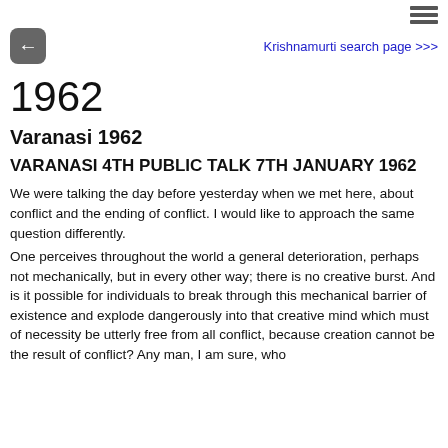[Figure (other): Hamburger menu icon (three horizontal lines) in top-right corner]
[Figure (other): Back arrow button (left-pointing arrow in grey rounded square)]
Krishnamurti search page >>>
1962
Varanasi 1962
VARANASI 4TH PUBLIC TALK 7TH JANUARY 1962
We were talking the day before yesterday when we met here, about conflict and the ending of conflict. I would like to approach the same question differently.
One perceives throughout the world a general deterioration, perhaps not mechanically, but in every other way; there is no creative burst. And is it possible for individuals to break through this mechanical barrier of existence and explode dangerously into that creative mind which must of necessity be utterly free from all conflict, because creation cannot be the result of conflict? Any man, I am sure, who